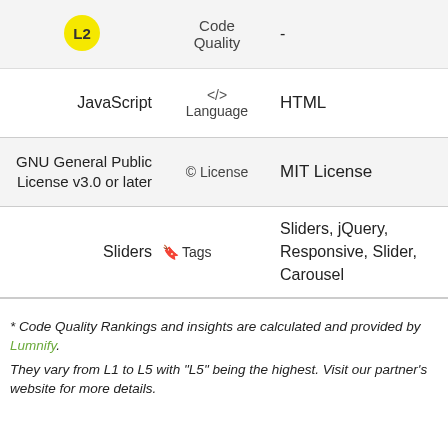| L2 [badge] | Code Quality | - |
| JavaScript | </>  Language | HTML |
| GNU General Public License v3.0 or later | © License | MIT License |
| Sliders | 🏷 Tags | Sliders, jQuery, Responsive, Slider, Carousel |
* Code Quality Rankings and insights are calculated and provided by Lumnify.
They vary from L1 to L5 with "L5" being the highest. Visit our partner's website for more details.